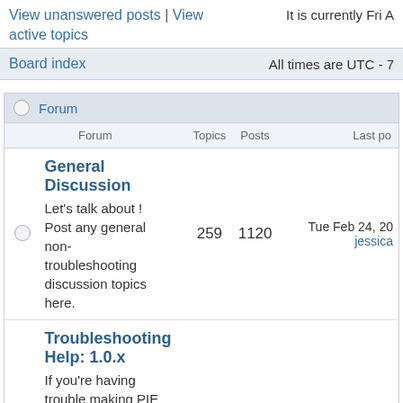View unanswered posts | View active topics    It is currently Fri A
Board index    All times are UTC - 7
| Forum | Topics | Posts | Last po |
| --- | --- | --- | --- |
| General Discussion
Let's talk about ! Post any general non-troubleshooting discussion topics here. | 259 | 1120 | Tue Feb 24, 20
jessica |
| Troubleshooting Help: 1.0.x
If you're having trouble making PIE work the magic you want post... | 1304 | 1304 | Mon Jun 08, 20 |